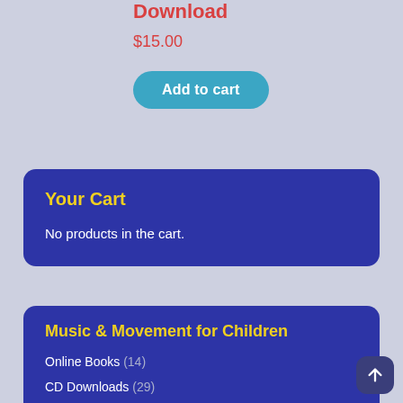Download
$15.00
Add to cart
Your Cart
No products in the cart.
Music & Movement for Children
Online Books (14)
CD Downloads (29)